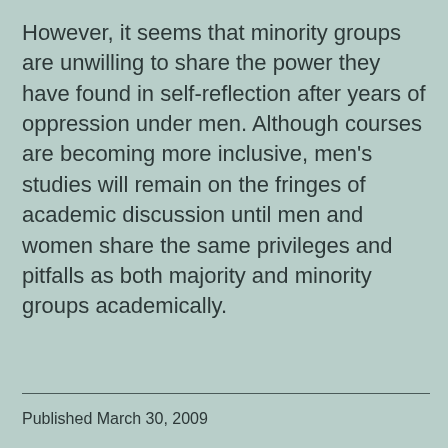However, it seems that minority groups are unwilling to share the power they have found in self-reflection after years of oppression under men. Although courses are becoming more inclusive, men's studies will remain on the fringes of academic discussion until men and women share the same privileges and pitfalls as both majority and minority groups academically.
Published March 30, 2009